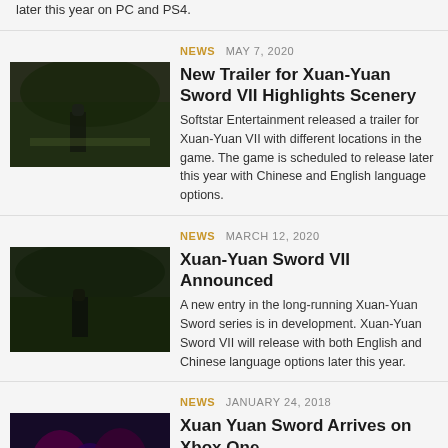later this year on PC and PS4.
NEWS   MAY 7, 2020
[Figure (photo): Dark forest scene with silhouette of person on stone path]
New Trailer for Xuan-Yuan Sword VII Highlights Scenery
Softstar Entertainment released a trailer for Xuan-Yuan VII with different locations in the game. The game is scheduled to release later this year with Chinese and English language options.
NEWS   MARCH 12, 2020
[Figure (photo): Dark forest scene with silhouette of person, similar to first image]
Xuan-Yuan Sword VII Announced
A new entry in the long-running Xuan-Yuan Sword series is in development. Xuan-Yuan Sword VII will release with both English and Chinese language options later this year.
NEWS   JANUARY 24, 2018
[Figure (photo): Colorful illustration of anime-style characters with purple/pink tones]
Xuan Yuan Sword Arrives on Xbox One
Xbox One-owning RPGamers in North America can check out a Taiwanese RPG. Xuan Yuan Sword: The Gate of Firmament is now available, with a two-week launch discount.